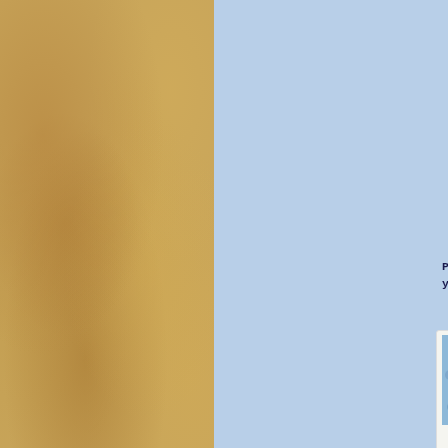[Figure (illustration): Left half of page showing a textured golden/sandy parchment-like background with mottled warm tan and amber tones.]
Please add your creation using the link below if you wish. Hope you will have fun!
[Figure (photo): Greeting card craft project showing an accordion-fold or gate-fold card with blue floral patterns and green panels, with text visible.]
1. Bea
[Figure (photo): Partially visible second gallery image with brown/wood tones on the right edge.]